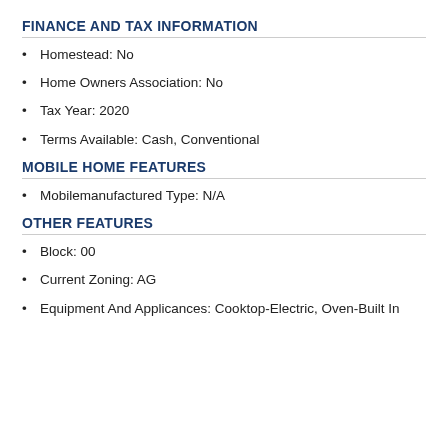FINANCE AND TAX INFORMATION
Homestead: No
Home Owners Association: No
Tax Year: 2020
Terms Available: Cash, Conventional
MOBILE HOME FEATURES
Mobilemanufactured Type: N/A
OTHER FEATURES
Block: 00
Current Zoning: AG
Equipment And Applicances: Cooktop-Electric, Oven-Built In